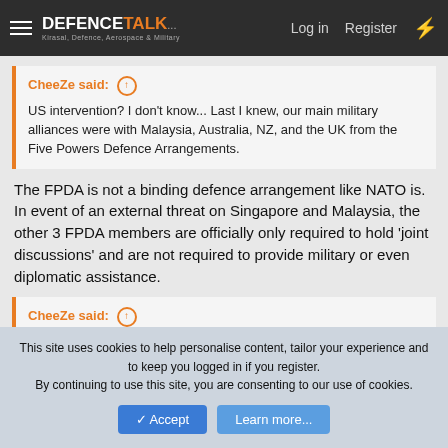DEFENCETALK — Log in | Register
CheeZe said: ↑ US intervention? I don't know... Last I knew, our main military alliances were with Malaysia, Australia, NZ, and the UK from the Five Powers Defence Arrangements.
The FPDA is not a binding defence arrangement like NATO is. In event of an external threat on Singapore and Malaysia, the other 3 FPDA members are officially only required to hold 'joint discussions' and are not required to provide military or even diplomatic assistance.
CheeZe said: ↑
This site uses cookies to help personalise content, tailor your experience and to keep you logged in if you register. By continuing to use this site, you are consenting to our use of cookies.